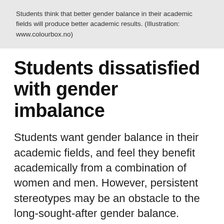Students think that better gender balance in their academic fields will produce better academic results. (Illustration: www.colourbox.no)
Students dissatisfied with gender imbalance
Students want gender balance in their academic fields, and feel they benefit academically from a combination of women and men. However, persistent stereotypes may be an obstacle to the long-sought-after gender balance.